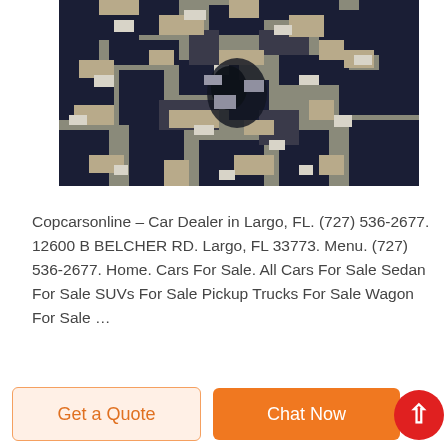[Figure (photo): Close-up photograph of digital camouflage fabric in dark navy blue, beige/tan, and white pixelated pattern, fabric is gathered/twisted at center]
Copcarsonline – Car Dealer in Largo, FL. (727) 536-2677. 12600 B BELCHER RD. Largo, FL 33773. Menu. (727) 536-2677. Home. Cars For Sale. All Cars For Sale Sedan For Sale SUVs For Sale Pickup Trucks For Sale Wagon For Sale …